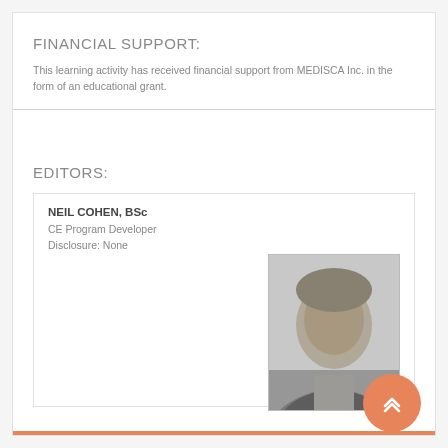FINANCIAL SUPPORT:
This learning activity has received financial support from MEDISCA Inc. in the form of an educational grant.
EDITORS:
NEIL COHEN, BSc
CE Program Developer
Disclosure: None
[Figure (photo): Black and white headshot photo of Neil Cohen, a middle-aged man in a suit jacket, with an orange circular scroll-up button overlapping the bottom-right corner of the photo.]